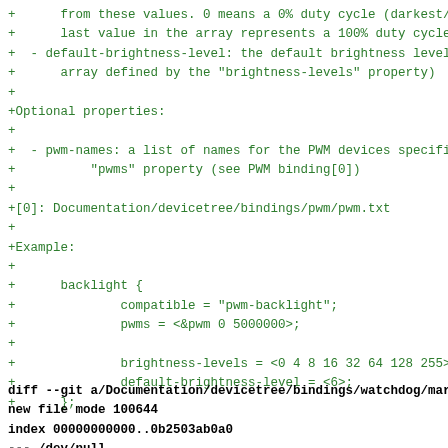+      from these values. 0 means a 0% duty cycle (darkest/of
+      last value in the array represents a 100% duty cycle (
+  - default-brightness-level: the default brightness level (
+      array defined by the "brightness-levels" property)
+
+Optional properties:
+
+  - pwm-names: a list of names for the PWM devices specified
+          "pwms" property (see PWM binding[0])
+
+[0]: Documentation/devicetree/bindings/pwm/pwm.txt
+
+Example:
+
+      backlight {
+              compatible = "pwm-backlight";
+              pwms = <&pwm 0 5000000>;
+
+              brightness-levels = <0 4 8 16 32 64 128 255>;
+              default-brightness-level = <6>;
+      };
diff --git a/Documentation/devicetree/bindings/watchdog/marve
new file mode 100644
index 00000000000..0b2503ab0a0
--- /dev/null